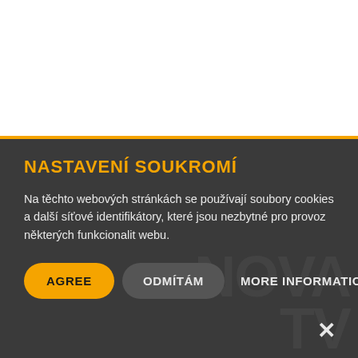NASTAVENÍ SOUKROMÍ
Na těchto webových stránkách se používají soubory cookies a další síťové identifikátory, které jsou nezbytné pro provoz některých funkcionalit webu.
AGREE | ODMÍTÁM | MORE INFORMATION